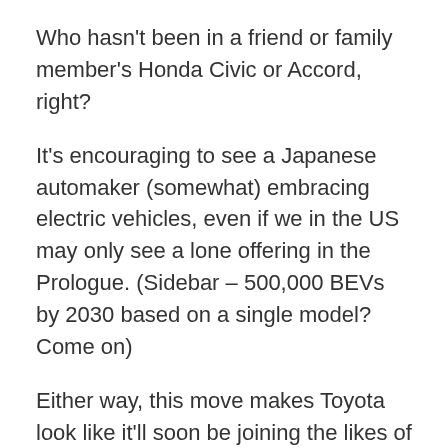Who hasn't been in a friend or family member's Honda Civic or Accord, right?
It's encouraging to see a Japanese automaker (somewhat) embracing electric vehicles, even if we in the US may only see a lone offering in the Prologue. (Sidebar – 500,000 BEVs by 2030 based on a single model? Come on)
Either way, this move makes Toyota look like it'll soon be joining the likes of Betamaxx, HD DVD, and Zune.
Don't get too high and mighty there Honda, you dragged your feet the last decade, and even with your new dive into the EV market in China, the transition feels too slow.
Not to mention China has quite a saturated market of quality EVs. I wonder how Honda plans to stand out? Brand